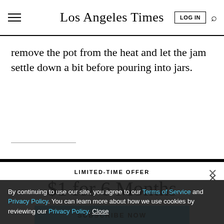Los Angeles Times
remove the pot from the heat and let the jam settle down a bit before pouring into jars.
LIMITED-TIME OFFER
$1 for 6 Months
SUBSCRIBE NOW
By continuing to use our site, you agree to our Terms of Service and Privacy Policy. You can learn more about how we use cookies by reviewing our Privacy Policy. Close